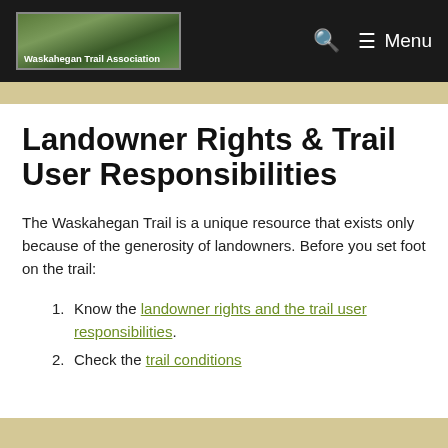Waskahegan Trail Association | Menu
Landowner Rights & Trail User Responsibilities
The Waskahegan Trail is a unique resource that exists only because of the generosity of landowners. Before you set foot on the trail:
1. Know the landowner rights and the trail user responsibilities.
2. Check the trail conditions